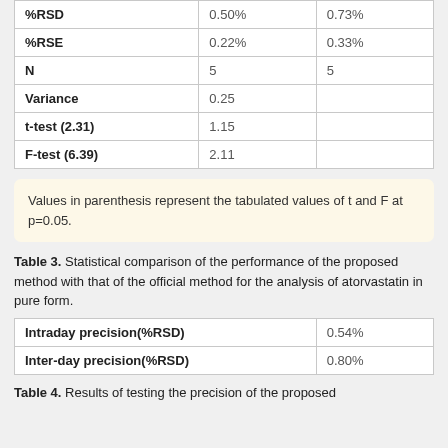|  | Col1 | Col2 |
| --- | --- | --- |
| %RSD | 0.50% | 0.73% |
| %RSE | 0.22% | 0.33% |
| N | 5 | 5 |
| Variance | 0.25 |  |
| t-test (2.31) | 1.15 |  |
| F-test (6.39) | 2.11 |  |
Values in parenthesis represent the tabulated values of t and F at p=0.05.
Table 3. Statistical comparison of the performance of the proposed method with that of the official method for the analysis of atorvastatin in pure form.
|  |  |
| --- | --- |
| Intraday precision(%RSD) | 0.54% |
| Inter-day precision(%RSD) | 0.80% |
Table 4. Results of testing the precision of the proposed method...